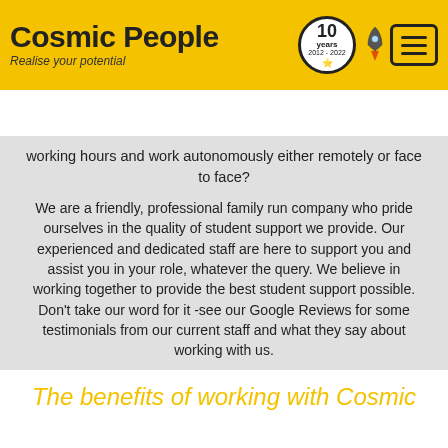Cosmic People — Realise your potential — 10 years 2012-2022
📞 01283 716 333  ✉ enquiries@cosmic.co.uk
working hours and work autonomously either remotely or face to face?
We are a friendly, professional family run company who pride ourselves in the quality of student support we provide. Our experienced and dedicated staff are here to support you and assist you in your role, whatever the query. We believe in working together to provide the best student support possible. Don't take our word for it -see our Google Reviews for some testimonials from our current staff and what they say about working with us.
We look forward to hearing from you!
The benefits of working with Cosmic